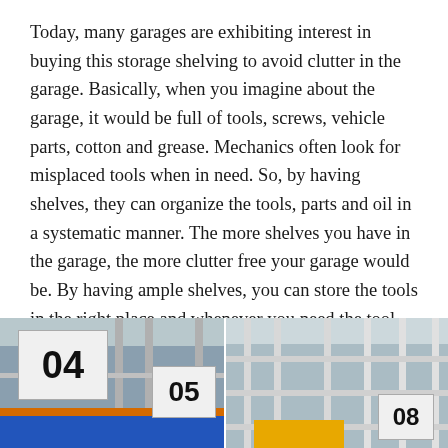Today, many garages are exhibiting interest in buying this storage shelving to avoid clutter in the garage. Basically, when you imagine about the garage, it would be full of tools, screws, vehicle parts, cotton and grease. Mechanics often look for misplaced tools when in need. So, by having shelves, they can organize the tools, parts and oil in a systematic manner. The more shelves you have in the garage, the more clutter free your garage would be. By having ample shelves, you can store the tools in the right place and whenever you need the tool, you can just pick from there. Ideally, you need to buy different types of shelves for your garage. Each shelf can be used to store different category of items.
[Figure (photo): Two side-by-side warehouse/storage aisle photos. Left photo shows numbered aisle markers '04' and '05' with metal shelving, blue shelf units and an orange rail visible. Right photo shows white metal wire shelving with ceiling visible and a yellow item at the bottom.]